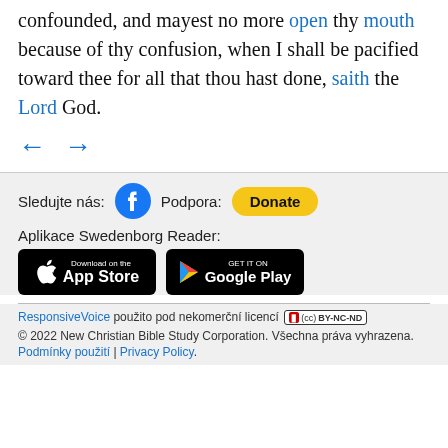confounded, and mayest no more open thy mouth because of thy confusion, when I shall be pacified toward thee for all that thou hast done, saith the Lord God.
← →
Sledujte nás: [Facebook icon] Podpora: [Donate button]
Aplikace Swedenborg Reader:
[Figure (other): App Store and Google Play download badges]
ResponsiveVoice použito pod nekomerční licencí [CC BY-NC-ND badge]
© 2022 New Christian Bible Study Corporation. Všechna práva vyhrazena.
Podmínky použití | Privacy Policy.